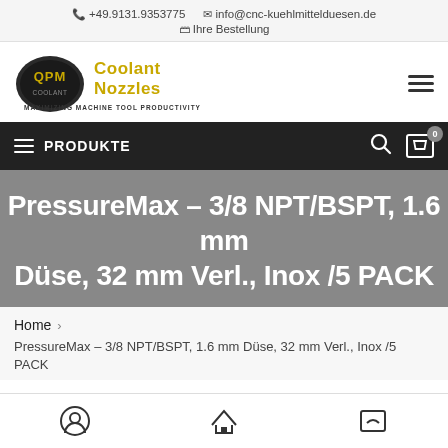+49.9131.9353775  info@cnc-kuehlmittelduesen.de  Ihre Bestellung
[Figure (logo): QPM Coolant Nozzles logo with text MAXIMIZING MACHINE TOOL PRODUCTIVITY]
PRODUKTE
PressureMax – 3/8 NPT/BSPT, 1.6 mm Düse, 32 mm Verl., Inox /5 PACK
Home > PressureMax – 3/8 NPT/BSPT, 1.6 mm Düse, 32 mm Verl., Inox /5 PACK
Login | Home | Cart